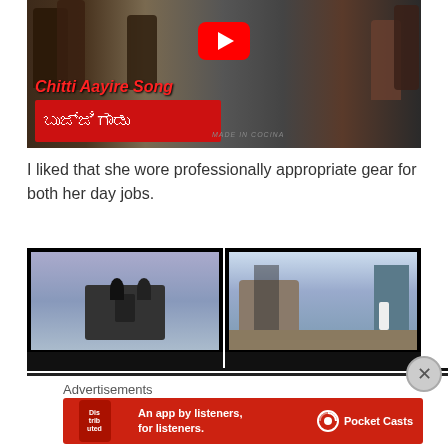[Figure (screenshot): YouTube video thumbnail for 'Chitti Aayire Song' from Kannada movie Bujjigadu, showing dancers with YouTube play button overlay and red title text]
I liked that she wore professionally appropriate gear for both her day jobs.
[Figure (screenshot): Two side-by-side video thumbnails showing action movie scenes - left shows people on a vehicle, right shows a person in white near large structures]
Advertisements
[Figure (screenshot): Pocket Casts advertisement banner: 'An app by listeners, for listeners.' on red background with phone graphic and Pocket Casts logo]